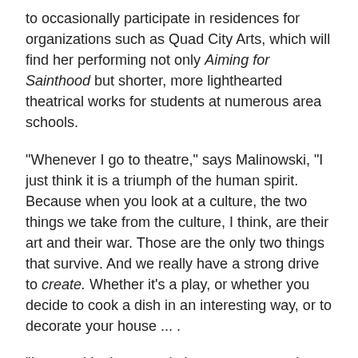to occasionally participate in residences for organizations such as Quad City Arts, which will find her performing not only Aiming for Sainthood but shorter, more lighthearted theatrical works for students at numerous area schools.
"Whenever I go to theatre," says Malinowski, "I just think it is a triumph of the human spirit. Because when you look at a culture, the two things we take from the culture, I think, are their art and their war. Those are the only two things that survive. And we really have a strong drive to create. Whether it's a play, or whether you decide to cook a dish in an interesting way, or to decorate your house ... .
"I mean, I look at people in war-torn countries, and they've got cute curtains up in their homes, you know? That's inspiring. That wherever they are, people create art. There is just something in our DNA that makes us want to draw on walls. And I don't know what that is, but I do know that my cat has never decorated her litter box."